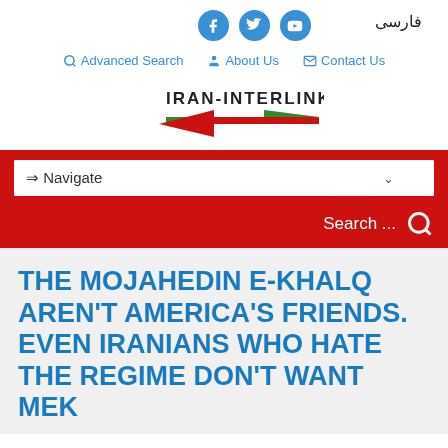[Figure (screenshot): Iran-Interlink website header with social media icons (Facebook, Twitter, YouTube), Farsi text, navigation links (Advanced Search, About Us, Contact Us), Iran-Interlink logo with arrow graphic, red navigation bar with Navigate dropdown and search bar]
THE MOJAHEDIN E-KHALQ AREN'T AMERICA'S FRIENDS. EVEN IRANIANS WHO HATE THE REGIME DON'T WANT MEK